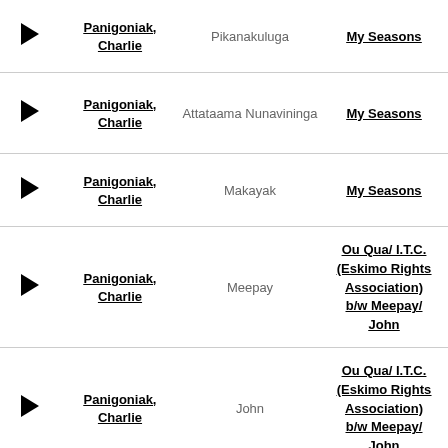|  | Artist | Song | Album |
| --- | --- | --- | --- |
| ▶ | Panigoniak, Charlie | Pikanakuluga | My Seasons |
| ▶ | Panigoniak, Charlie | Attataama Nunavininga | My Seasons |
| ▶ | Panigoniak, Charlie | Makayak | My Seasons |
| ▶ | Panigoniak, Charlie | Meepay | Ou Qua/ I.T.C. (Eskimo Rights Association) b/w Meepay/ John |
| ▶ | Panigoniak, Charlie | John | Ou Qua/ I.T.C. (Eskimo Rights Association) b/w Meepay/ John |
| ▶ |  |  | Ou Qua/ I.T.C. |